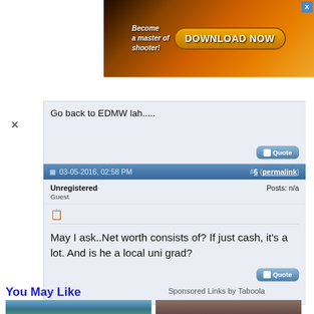[Figure (screenshot): Advertisement banner: 'Become a master of shooter! DOWNLOAD NOW' on dark orange background with colorful game graphics]
Go back to EDMW lah.....
03-05-2016, 02:58 PM   #6 (permalink)
Unregistered
Guest
Posts: n/a
May I ask..Net worth consists of? If just cash, it's a lot. And is he a local uni grad?
You May Like
Sponsored Links by Taboola